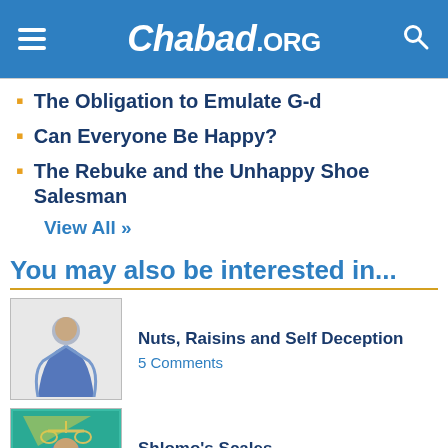Chabad.ORG
The Obligation to Emulate G-d
Can Everyone Be Happy?
The Rebuke and the Unhappy Shoe Salesman
View All »
You may also be interested in...
[Figure (illustration): Thumbnail image of a figure in blue robes for article Nuts, Raisins and Self Deception]
Nuts, Raisins and Self Deception
5 Comments
[Figure (illustration): Thumbnail image showing a man with scales for article Shlomo's Scales]
Shlomo's Scales
17 Comments
[Figure (illustration): Partial thumbnail for Adulthood article]
Adulthood